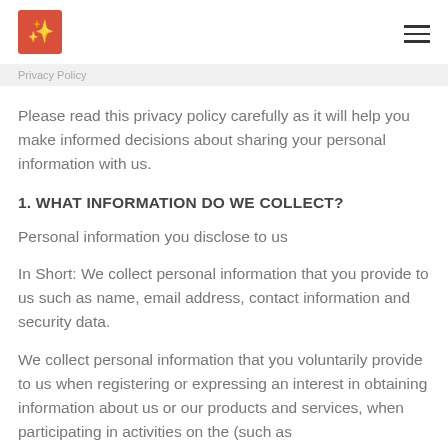[logo] [hamburger menu]
Privacy Policy
Please read this privacy policy carefully as it will help you make informed decisions about sharing your personal information with us.
1. WHAT INFORMATION DO WE COLLECT?
Personal information you disclose to us
In Short: We collect personal information that you provide to us such as name, email address, contact information and security data.
We collect personal information that you voluntarily provide to us when registering or expressing an interest in obtaining information about us or our products and services, when participating in activities on the (such as